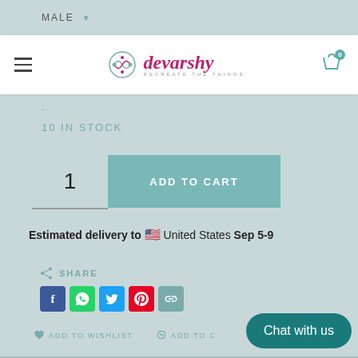MALE ▾
[Figure (logo): Devarshy brand logo with decorative icon and stylized text]
10 IN STOCK
1   ADD TO CART
Estimated delivery to 🇺🇸 United States Sep 5-9
SHARE
[Figure (infographic): Social share icons: Facebook, WhatsApp, Twitter, Pinterest, Copy link]
ADD TO WISHLIST   ADD TO COMPARE
Chat with us